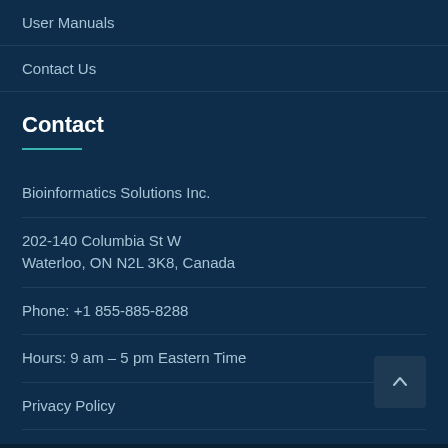User Manuals
Contact Us
Contact
Bioinformatics Solutions Inc.
202-140 Columbia St W
Waterloo, ON N2L 3K8, Canada
Phone: +1 855-885-8288
Hours: 9 am – 5 pm Eastern Time
Privacy Policy